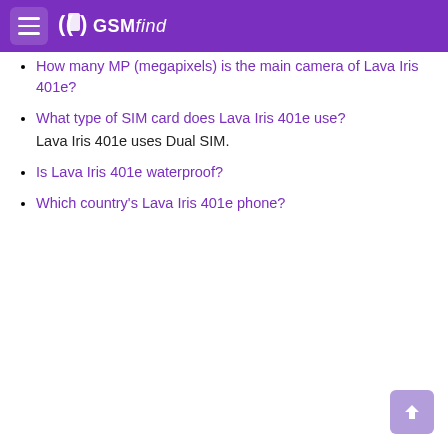GSMfind
How many MP (megapixels) is the main camera of Lava Iris 401e?
What type of SIM card does Lava Iris 401e use?
Lava Iris 401e uses Dual SIM.
Is Lava Iris 401e waterproof?
Which country's Lava Iris 401e phone?